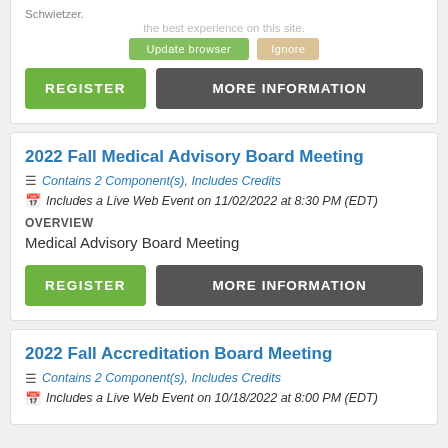Schwietzer.
Update your browser for more security, speed and the best experience on this site.
Update browser   Ignore
REGISTER   MORE INFORMATION
2022 Fall Medical Advisory Board Meeting
Contains 2 Component(s), Includes Credits
Includes a Live Web Event on 11/02/2022 at 8:30 PM (EDT)
OVERVIEW
Medical Advisory Board Meeting
REGISTER   MORE INFORMATION
2022 Fall Accreditation Board Meeting
Contains 2 Component(s), Includes Credits
Includes a Live Web Event on 10/18/2022 at 8:00 PM (EDT)